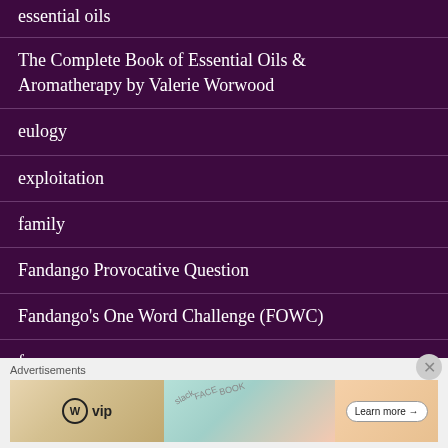essential oils
The Complete Book of Essential Oils & Aromatherapy by Valerie Worwood
eulogy
exploitation
family
Fandango Provocative Question
Fandango's One Word Challenge (FOWC)
fauna
favorite book passages
Advertisements
[Figure (other): WordPress VIP advertisement banner with Learn more button]